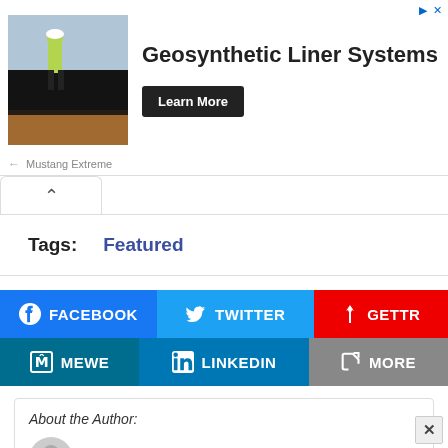[Figure (screenshot): Advertisement banner for Geosynthetic Liner Systems by Mustang Extreme, showing a worker on a black liner surface, with a bold headline and Learn More button.]
Tags:
Featured
[Figure (infographic): Social sharing buttons: Facebook, Twitter, GETTR (row 1), MeWe, LinkedIn, More (row 2)]
About the Author:
C. Douglas Golden, The Western Journal
Recent  Contact